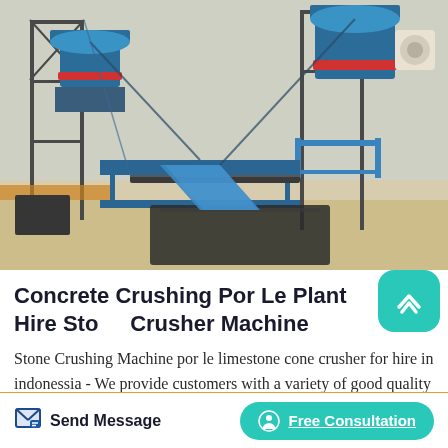[Figure (photo): Aerial/overhead view of blue industrial stone crushing plant machinery with cone crushers, conveyor belts, scaffolding and support structures on a rocky outdoor site]
Concrete Crushing Por Le Plant Hire Stone Crusher Machine
Stone Crushing Machine por le limestone cone crusher for hire in indonessia - We provide customers with a variety of good quality construction and mining crushing equipment, and optimize the combination of various types of